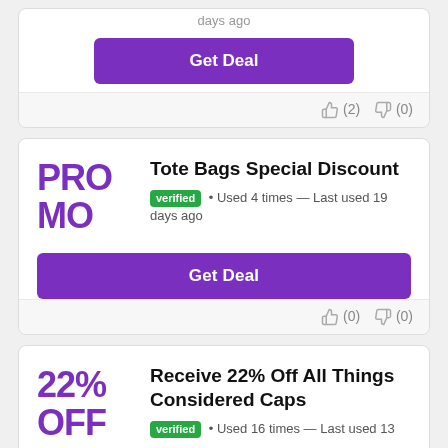days ago
Get Deal
(2)  (0)
Tote Bags Special Discount
verified • Used 4 times — Last used 19 days ago
Get Deal
(0)  (0)
Receive 22% Off All Things Considered Caps
verified • Used 16 times — Last used 13